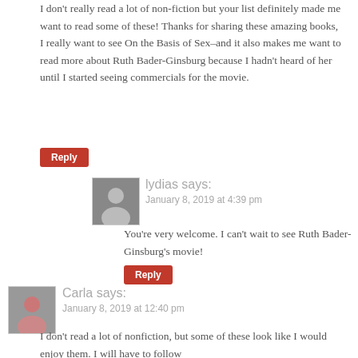I don't really read a lot of non-fiction but your list definitely made me want to read some of these! Thanks for sharing these amazing books, I really want to see On the Basis of Sex–and it also makes me want to read more about Ruth Bader-Ginsburg because I hadn't heard of her until I started seeing commercials for the movie.
Reply
[Figure (photo): Small avatar photo of lydias commenter]
lydias says: January 8, 2019 at 4:39 pm
You're very welcome. I can't wait to see Ruth Bader-Ginsburg's movie!
Reply
[Figure (photo): Small avatar photo of Carla commenter]
Carla says: January 8, 2019 at 12:40 pm
I don't read a lot of nonfiction, but some of these look like I would enjoy them. I will have to follow